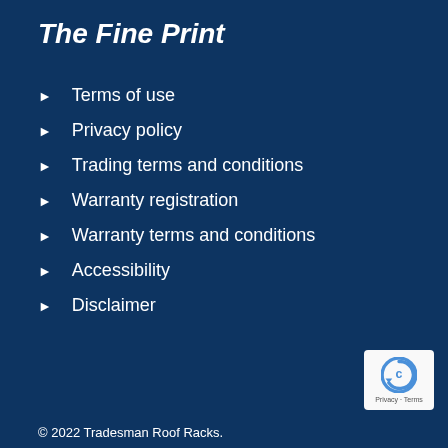The Fine Print
Terms of use
Privacy policy
Trading terms and conditions
Warranty registration
Warranty terms and conditions
Accessibility
Disclaimer
© 2022 Tradesman Roof Racks.